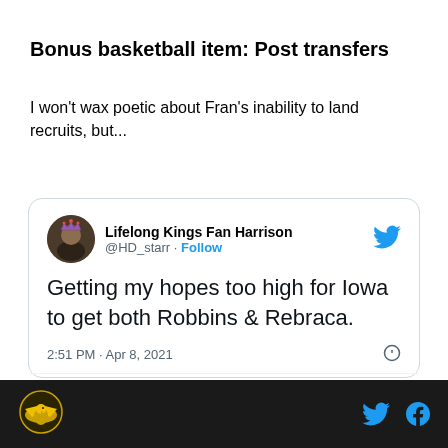Bonus basketball item: Post transfers
I won't wax poetic about Fran's inability to land recruits, but...
[Figure (screenshot): Embedded tweet from @HD_starr (Lifelong Kings Fan Harrison) dated 2:51 PM · Apr 8, 2021, reading: Getting my hopes too high for Iowa to get both Robbins & Rebraca. Shows 3 likes, Reply and Copy link actions.]
Iowa Hawks logo · Twitter icon · Facebook icon